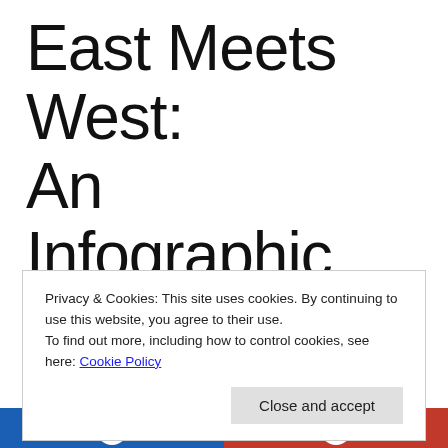East Meets West: An Infographic Portrait by Yang Liu [external link]
Privacy & Cookies: This site uses cookies. By continuing to use this website, you agree to their use.
To find out more, including how to control cookies, see here: Cookie Policy
[Figure (other): Bottom bar showing blue and red sections with white circular icons, representing a website footer or infographic element]